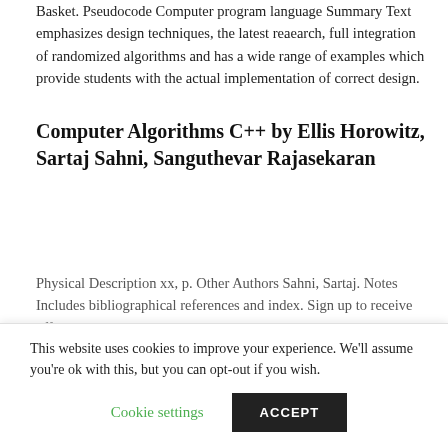Basket. Pseudocode Computer program language Summary Text emphasizes design techniques, the latest reaearch, full integration of randomized algorithms and has a wide range of examples which provide students with the actual implementation of correct design.
Computer Algorithms C++ by Ellis Horowitz, Sartaj Sahni, Sanguthevar Rajasekaran
Physical Description xx, p. Other Authors Sahni, Sartaj. Notes Includes bibliographical references and index. Sign up to receive offers and updates: Related resource
This website uses cookies to improve your experience. We'll assume you're ok with this, but you can opt-out if you wish.